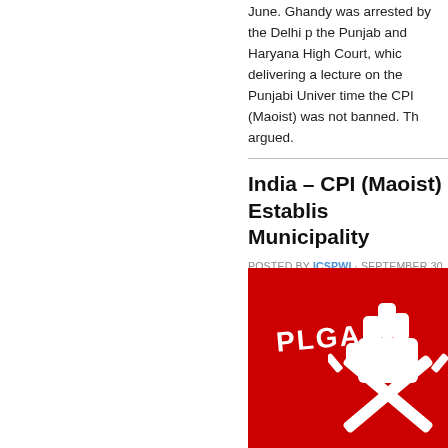June. Ghandy was arrested by the Delhi p the Punjab and Haryana High Court, whic delivering a lecture on the Punjabi Univer time the CPI (Maoist) was not banned. Th argued.
India – CPI (Maoist) Establis Municipality
POSTED BY ICSPWI · SEPTEMBER 30, 2016
[Figure (photo): Red background image with white PLGA text and white stylized emblem/logo featuring what appears to be crossed rifles or a similar militant symbol]